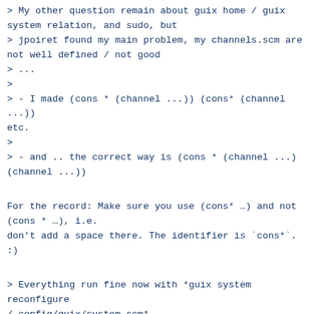> My other question remain about guix home / guix system relation, and sudo, but
> jpoiret found my main problem, my channels.scm are not well defined / not good
> ...
>
> - I made (cons * (channel ...)) (cons* (channel ...)) etc.
>
> - and .. the correct way is (cons * (channel ...) (channel ...))
For the record: Make sure you use (cons* …) and not (cons * …), i.e.
don't add a space there. The identifier is `cons*`. :)
> Everything run fine now with *guix system reconfigure /.config/guix/system.scm*
>
> Best
>
> Le 11/05/2022 à 16:36, Sébastien Rey-Coyrehourcq a écrit :
> > Hi,
> >
> > Thanks Julien,
> >
> > I see on the doc that *sudo* run command as user
>  > that is not it the...